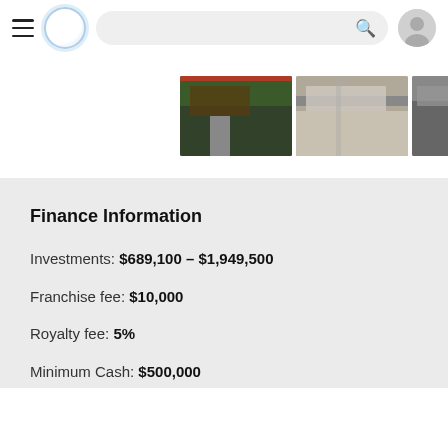[Figure (screenshot): Mobile app navigation bar with hamburger menu, circular logo, search bar, and user avatar icon]
[Figure (photo): Three thumbnail photos of franchise/retail store locations]
Finance Information
Investments: $689,100 – $1,949,500
Franchise fee: $10,000
Royalty fee: 5%
Minimum Cash: $500,000
Net Worth: $2,000,000